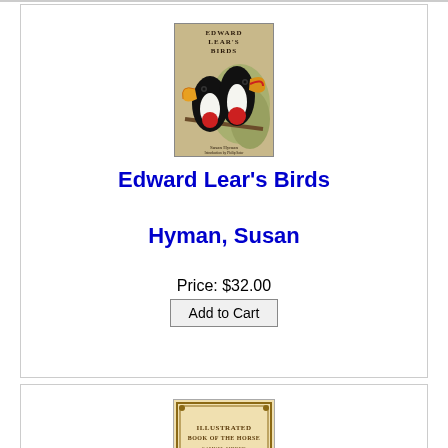[Figure (illustration): Book cover of 'Edward Lear's Birds' by Susan Hyman, showing two toucans on a branch with foliage background]
Edward Lear's Birds
Hyman, Susan
Price: $32.00
Add to Cart
[Figure (illustration): Partial book cover of 'Illustrated Book of the Horse' with ornate border, partially visible at bottom of page]